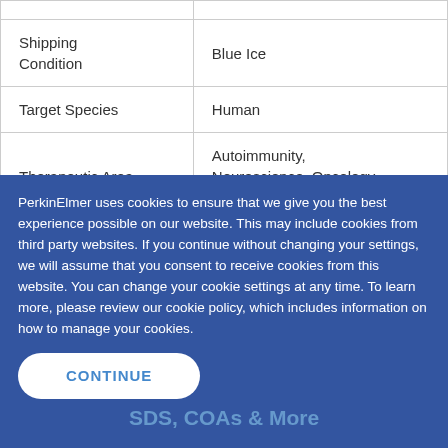| Property | Value |
| --- | --- |
| Shipping Condition | Blue Ice |
| Target Species | Human |
| Therapeutic Area | Autoimmunity, Neuroscience, Oncology, Immuno-oncology |
| Unit Size | 5,000 Assay Points |
PerkinElmer uses cookies to ensure that we give you the best experience possible on our website. This may include cookies from third party websites. If you continue without changing your settings, we will assume that you consent to receive cookies from this website. You can change your cookie settings at any time. To learn more, please review our cookie policy, which includes information on how to manage your cookies.
CONTINUE
Resources, Events & More
SDS, COAs & More